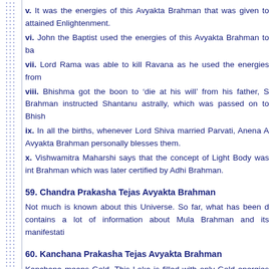v. It was the energies of this Avyakta Brahman that was given to attained Enlightenment.
vi. John the Baptist used the energies of this Avyakta Brahman to ba
vii. Lord Rama was able to kill Ravana as he used the energies from
viii. Bhishma got the boon to ‘die at his will’ from his father, S Brahman instructed Shantanu astrally, which was passed on to Bhish
ix. In all the births, whenever Lord Shiva married Parvati, Anena A Avyakta Brahman personally blesses them.
x. Vishwamitra Maharshi says that the concept of Light Body was int Brahman which was later certified by Adhi Brahman.
59. Chandra Prakasha Tejas Avyakta Brahman
Not much is known about this Universe. So far, what has been d contains a lot of information about Mula Brahman and its manifestati
60. Kanchana Prakasha Tejas Avyakta Brahman
Kanchana means Gold. This Loka is filled with only Gold energies an Vishwamitra Maharshi went to this loka and returned, he was shinin for several days; and for some of those days he had to play a very si